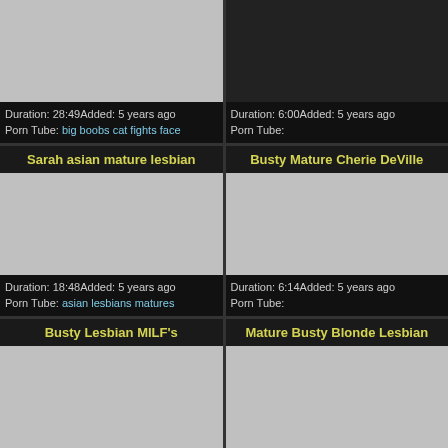[Figure (screenshot): Video thumbnail placeholder (gray) - top left card, cropped]
Duration: 28:49Added: 5 years ago
Porn Tube: big boobs cat fights face
[Figure (screenshot): Video thumbnail placeholder (gray) - top right card, cropped]
Duration: 6:00Added: 5 years ago
Porn Tube:
Sarah asian mature lesbian
Busty Mature Cherie DeVille
[Figure (photo): Video thumbnail placeholder (gray) - middle left card]
[Figure (photo): Video thumbnail placeholder (gray) - middle right card]
Duration: 18:48Added: 5 years ago
Porn Tube: asian lesbians matures
Duration: 6:14Added: 5 years ago
Porn Tube:
Busty Lesbian MILF's
Mature Busty Blonde Lesbian